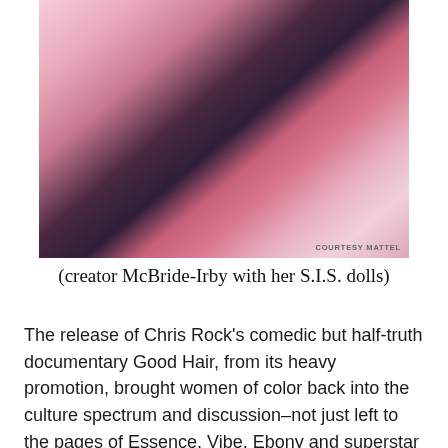[Figure (photo): A woman in a pink blazer sitting behind a table surrounded by multiple Black Barbie-style dolls (S.I.S. dolls). A watermark reads 'COURTESY MATTEL' in the bottom right corner.]
(creator McBride-Irby with her S.I.S. dolls)
The release of Chris Rock's comedic but half-truth documentary Good Hair, from its heavy promotion, brought women of color back into the culture spectrum and discussion–not just left to the pages of Essence, Vibe, Ebony and superstar Beyoncé doing most of the representation. The core of this